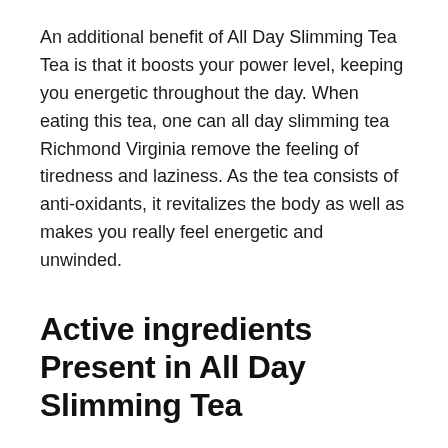An additional benefit of All Day Slimming Tea Tea is that it boosts your power level, keeping you energetic throughout the day. When eating this tea, one can all day slimming tea Richmond Virginia remove the feeling of tiredness and laziness. As the tea consists of anti-oxidants, it revitalizes the body as well as makes you really feel energetic and unwinded.
Active ingredients Present in All Day Slimming Tea
Ingredients used in All Day Slimming Tea are shown to be reliable in weight management. The adhering to are the elements existing in the